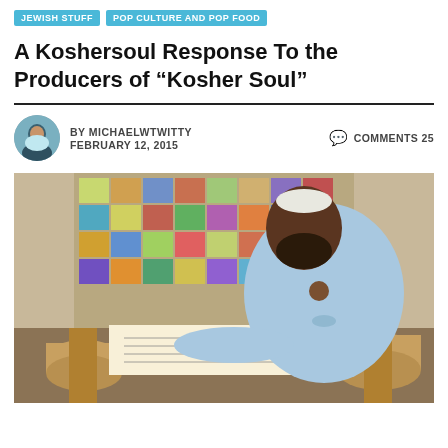JEWISH STUFF | POP CULTURE AND POP FOOD
A Koshersoul Response To the Producers of “Kosher Soul”
BY MICHAELWTWITTY  COMMENTS 25  FEBRUARY 12, 2015
[Figure (photo): A Black man with a beard wearing a light blue denim shirt and wooden pendant, reading from a Torah scroll. Behind him is a colorful patchwork quilt on the wall.]